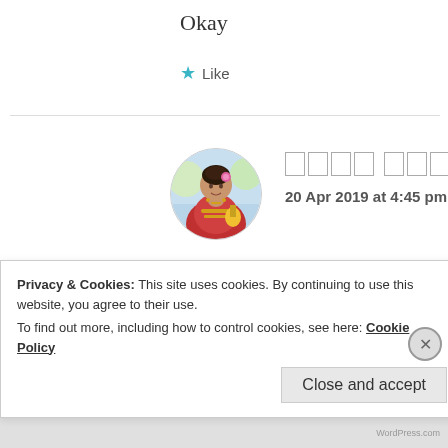Okay
★ Like
[Figure (photo): Circular avatar of a woman in traditional Indian attire with floral decorations]
□□□□ □□□□
20 Apr 2019 at 4:45 pm
okkkkk...
★ Like
Privacy & Cookies: This site uses cookies. By continuing to use this website, you agree to their use.
To find out more, including how to control cookies, see here: Cookie Policy
Close and accept